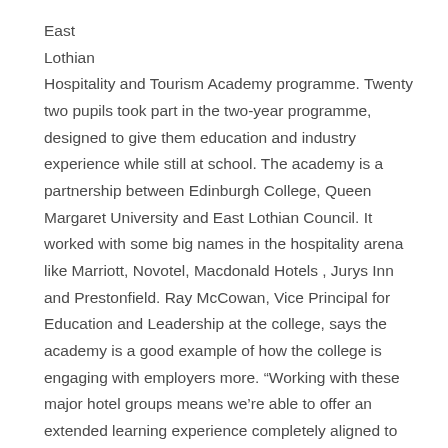East
Lothian
Hospitality and Tourism Academy programme. Twenty two pupils took part in the two-year programme, designed to give them education and industry experience while still at school. The academy is a partnership between Edinburgh College, Queen Margaret University and East Lothian Council. It worked with some big names in the hospitality arena like Marriott, Novotel, Macdonald Hotels , Jurys Inn and Prestonfield. Ray McCowan, Vice Principal for Education and Leadership at the college, says the academy is a good example of how the college is engaging with employers more. “Working with these major hotel groups means we’re able to offer an extended learning experience completely aligned to the needs of those employers.”